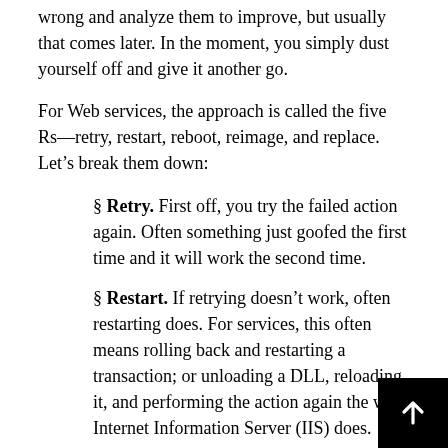wrong and analyze them to improve, but usually that comes later. In the moment, you simply dust yourself off and give it another go.
For Web services, the approach is called the five Rs—retry, restart, reboot, reimage, and replace. Let's break them down:
§ Retry. First off, you try the failed action again. Often something just goofed the first time and it will work the second time.
§ Restart. If retrying doesn't work, often restarting does. For services, this often means rolling back and restarting a transaction; or unloading a DLL, reloading it, and performing the action again the way Internet Information Server (IIS) does.
§ Reboot. If restarting doesn't work, do what a user would do, and reboot the machine.